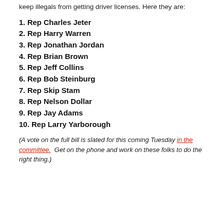keep illegals from getting driver licenses. Here they are:
1. Rep Charles Jeter
2. Rep Harry Warren
3. Rep Jonathan Jordan
4. Rep Brian Brown
5. Rep Jeff Collins
6. Rep Bob Steinburg
7. Rep Skip Stam
8. Rep Nelson Dollar
9. Rep Jay Adams
10. Rep Larry Yarborough
(A vote on the full bill is slated for this coming Tuesday in the committee.  Get on the phone and work on these folks to do the right thing.)